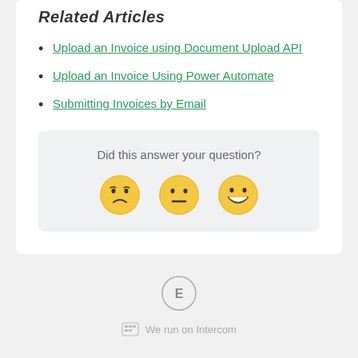Related Articles
Upload an Invoice using Document Upload API
Upload an Invoice Using Power Automate
Submitting Invoices by Email
Did this answer your question?
[Figure (illustration): Three emoji faces for feedback: sad (frowning), neutral, and happy (smiling with teeth)]
[Figure (logo): Intercom logo circle with letter E]
We run on Intercom